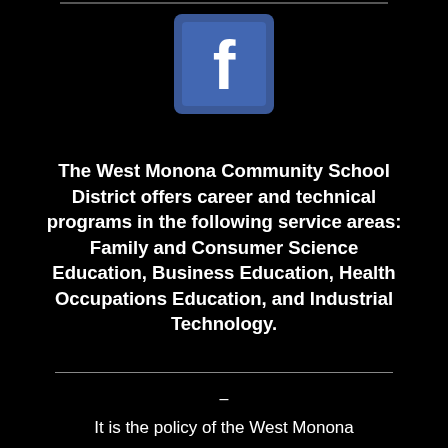[Figure (logo): Facebook logo icon — blue square with white lowercase f]
The West Monona Community School District offers career and technical programs in the following service areas: Family and Consumer Science Education, Business Education, Health Occupations Education, and Industrial Technology.
–
It is the policy of the West Monona